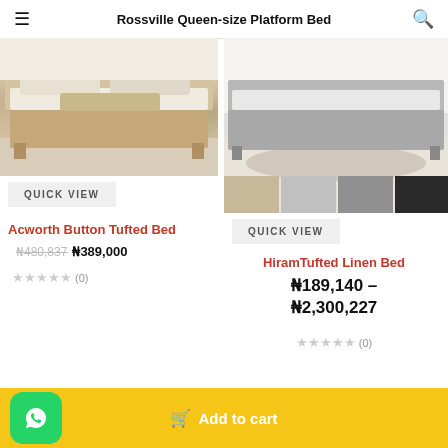Rossville Queen-size Platform Bed
[Figure (photo): Photo of Acworth Button Tufted Bed - beige upholstered platform bed with white/cream bedding]
[Figure (photo): Photo of Hiram Tufted Linen Bed - grey upholstered platform bed with color swatches showing beige, light grey, dark grey, black options]
QUICK VIEW
QUICK VIEW
Acworth Button Tufted Bed
₦480,837 ₦389,000
★★★★★ (0)
HiramTufted Linen Bed
₦189,140 – ₦2,300,227
★★★★★ (0)
Add to cart